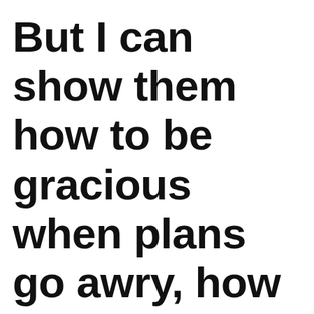But I can show them how to be gracious when plans go awry, how to be kind when kindness feels impossible, how to find i...